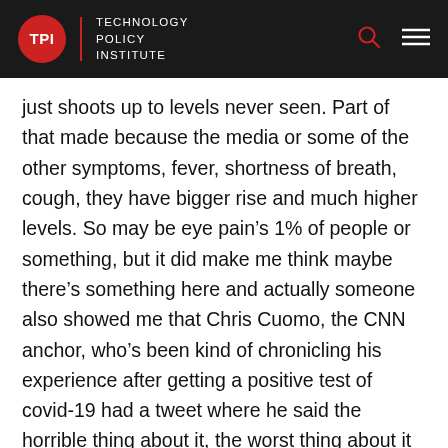TPI | TECHNOLOGY POLICY INSTITUTE
just shoots up to levels never seen. Part of that made because the media or some of the other symptoms, fever, shortness of breath, cough, they have bigger rise and much higher levels. So may be eye pain’s 1% of people or something, but it did make me think maybe there’s something here and actually someone also showed me that Chris Cuomo, the CNN anchor, who’s been kind of chronicling his experience after getting a positive test of covid-19 had a tweet where he said the horrible thing about it, the worst thing about it is the eye pain. And then a whole bunch of people responded to that. Some people said, eye pain, that’s not, I’ve never heard